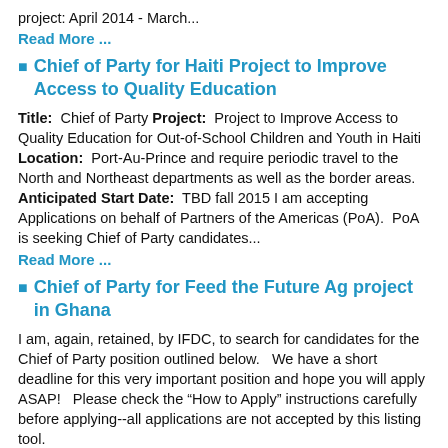project: April 2014 - March...
Read More ...
Chief of Party for Haiti Project to Improve Access to Quality Education
Title: Chief of Party Project: Project to Improve Access to Quality Education for Out-of-School Children and Youth in Haiti Location: Port-Au-Prince and require periodic travel to the North and Northeast departments as well as the border areas. Anticipated Start Date: TBD fall 2015 I am accepting Applications on behalf of Partners of the Americas (PoA). PoA is seeking Chief of Party candidates...
Read More ...
Chief of Party for Feed the Future Ag project in Ghana
I am, again, retained, by IFDC, to search for candidates for the Chief of Party position outlined below. We have a short deadline for this very important position and hope you will apply ASAP! Please check the “How to Apply” instructions carefully before applying--all applications are not accepted by this listing tool.